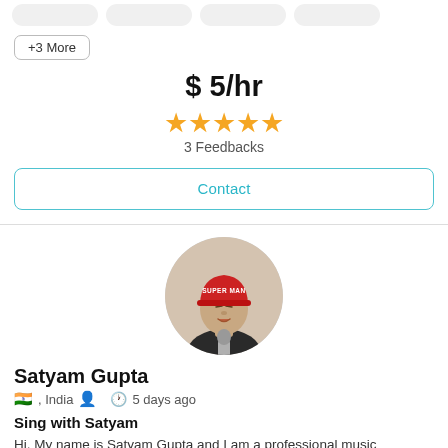+3 More
$ 5/hr
★★★★★ 3 Feedbacks
Contact
[Figure (photo): Profile photo of Satyam Gupta, a young man wearing a red Superman cap, singing into a microphone. Circular cropped avatar.]
Satyam Gupta
🇮🇳 , India  👤  🕐 5 days ago
Sing with Satyam
Hi, My name is Satyam Gupta and I am a professional music